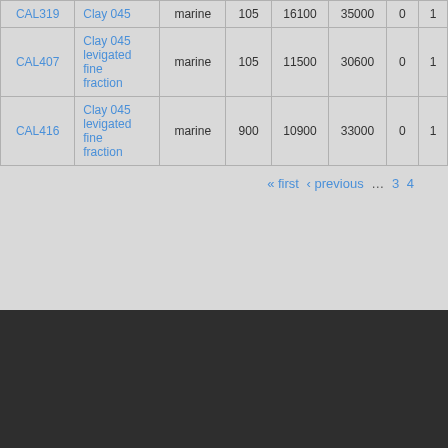| ID | Material | Environment | Value1 | Value2 | Value3 | Value4 | Value5 |
| --- | --- | --- | --- | --- | --- | --- | --- |
| CAL319 | Clay 045 | marine | 105 | 16100 | 35000 | 0 | 1 |
| CAL407 | Clay 045 levigated fine fraction | marine | 105 | 11500 | 30600 | 0 | 1 |
| CAL416 | Clay 045 levigated fine fraction | marine | 900 | 10900 | 33000 | 0 | 1 |
« first ‹ previous … 3 4
USER LOGIN
You will be redirected to the secure CalNet login page.